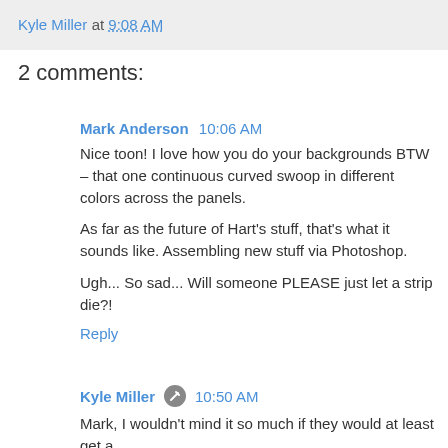Kyle Miller at 9:08 AM
2 comments:
Mark Anderson  10:06 AM
Nice toon! I love how you do your backgrounds BTW – that one continuous curved swoop in different colors across the panels.
As far as the future of Hart's stuff, that's what it sounds like. Assembling new stuff via Photoshop.
Ugh... So sad... Will someone PLEASE just let a strip die?!
Reply
Kyle Miller  10:50 AM
Mark, I wouldn't mind it so much if they would at least get a